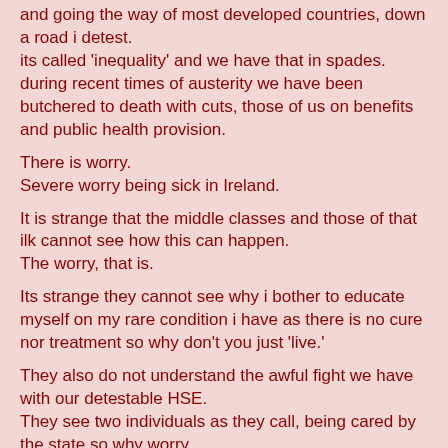and going the way of most developed countries, down a road i detest.
its called 'inequality' and we have that in spades.
during recent times of austerity we have been butchered to death with cuts, those of us on benefits and public health provision.
There is worry.
Severe worry being sick in Ireland.
It is strange that the middle classes and those of that ilk cannot see how this can happen.
The worry, that is.
Its strange they cannot see why i bother to educate myself on my rare condition i have as there is no cure nor treatment so why don't you just 'live.'
They also do not understand the awful fight we have with our detestable HSE.
They see two individuals as they call, being cared by the state so why worry.